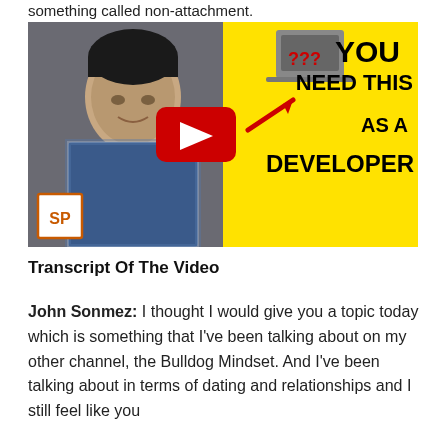something called non-attachment.
[Figure (screenshot): YouTube video thumbnail showing a man in a plaid shirt on the left, yellow background on the right with bold text 'YOU NEED THIS AS A DEVELOPER', a laptop icon with question marks, a red arrow, a YouTube play button in the center, and an SP logo in the bottom-left corner.]
Transcript Of The Video
John Sonmez: I thought I would give you a topic today which is something that I've been talking about on my other channel, the Bulldog Mindset. And I've been talking about in terms of dating and relationships and I still feel like you